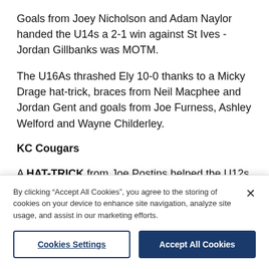Goals from Joey Nicholson and Adam Naylor handed the U14s a 2-1 win against St Ives - Jordan Gillbanks was MOTM.
The U16As thrashed Ely 10-0 thanks to a Micky Drage hat-trick, braces from Neil Macphee and Jordan Gent and goals from Joe Furness, Ashley Welford and Wayne Childerley.
KC Cougars
A HAT-TRICK from Joe Postins helped the U12s to a 9-2 win against Warboys. Chris Kaye and Sam Clarke each scored two and there were further goals from Aron [truncated]
By clicking “Accept All Cookies”, you agree to the storing of cookies on your device to enhance site navigation, analyze site usage, and assist in our marketing efforts.